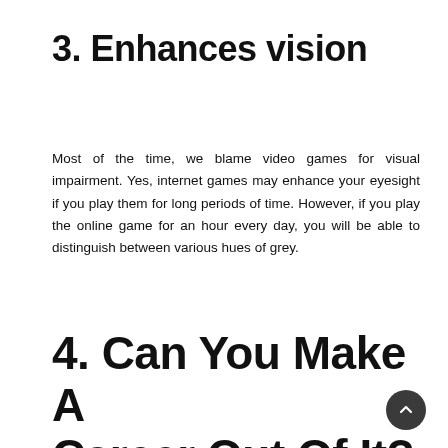3. Enhances vision
Most of the time, we blame video games for visual impairment. Yes, internet games may enhance your eyesight if you play them for long periods of time. However, if you play the online game for an hour every day, you will be able to distinguish between various hues of grey.
4. Can You Make A Career Out Of It?